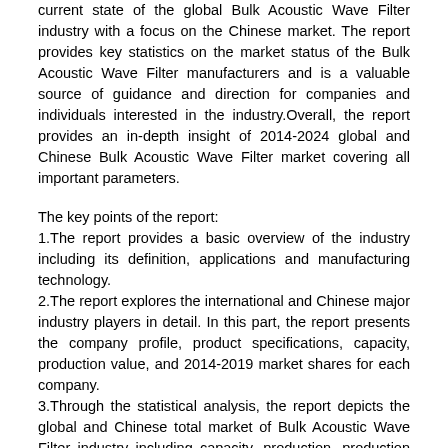current state of the global Bulk Acoustic Wave Filter industry with a focus on the Chinese market. The report provides key statistics on the market status of the Bulk Acoustic Wave Filter manufacturers and is a valuable source of guidance and direction for companies and individuals interested in the industry.Overall, the report provides an in-depth insight of 2014-2024 global and Chinese Bulk Acoustic Wave Filter market covering all important parameters.
The key points of the report:
1.The report provides a basic overview of the industry including its definition, applications and manufacturing technology.
2.The report explores the international and Chinese major industry players in detail. In this part, the report presents the company profile, product specifications, capacity, production value, and 2014-2019 market shares for each company.
3.Through the statistical analysis, the report depicts the global and Chinese total market of Bulk Acoustic Wave Filter industry including capacity, production, production value, cost/profit, supply/demand and Chinese import/export.
4.The total market is further divided by company, by country, and by application/type for the competitive landscape